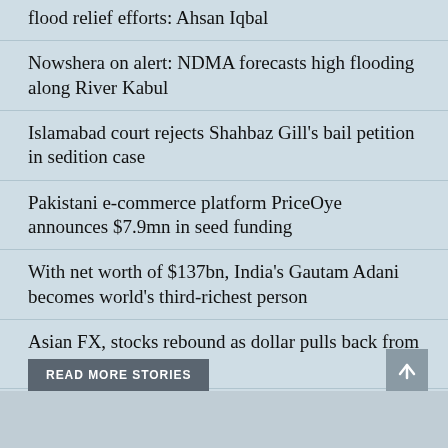flood relief efforts: Ahsan Iqbal
Nowshera on alert: NDMA forecasts high flooding along River Kabul
Islamabad court rejects Shahbaz Gill's bail petition in sedition case
Pakistani e-commerce platform PriceOye announces $7.9mn in seed funding
With net worth of $137bn, India's Gautam Adani becomes world's third-richest person
Asian FX, stocks rebound as dollar pulls back from 20-yr peak
Oil tumbles on inflation woes, Iraq exports
READ MORE STORIES